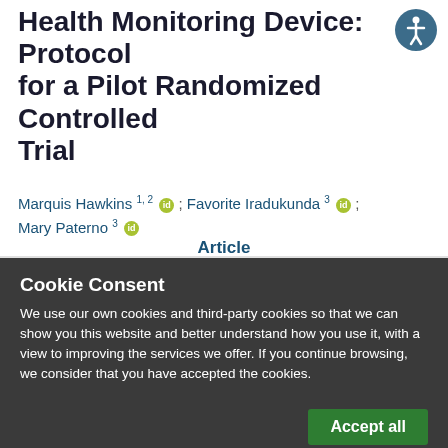Health Monitoring Device: Protocol for a Pilot Randomized Controlled Trial
Marquis Hawkins 1, 2 [ORCID]; Favorite Iradukunda 3 [ORCID]; Mary Paterno 3 [ORCID]
Article
Cookie Consent
We use our own cookies and third-party cookies so that we can show you this website and better understand how you use it, with a view to improving the services we offer. If you continue browsing, we consider that you have accepted the cookies.
Accept all